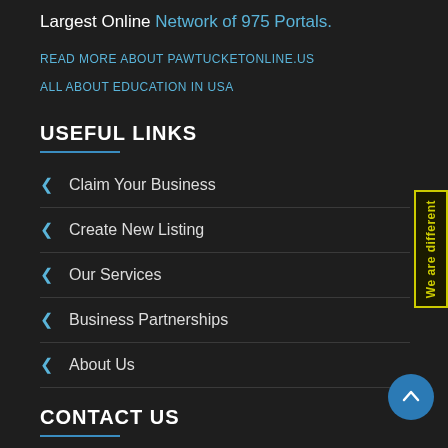Largest Online Network of 975 Portals.
READ MORE ABOUT PAWTUCKETONLINE.US
ALL ABOUT EDUCATION IN USA
USEFUL LINKS
Claim Your Business
Create New Listing
Our Services
Business Partnerships
About Us
CONTACT US
[Figure (other): Vertical sidebar badge with text 'We are different' in yellow on dark background with yellow border]
[Figure (other): Blue circular scroll-to-top button with upward arrow icon]